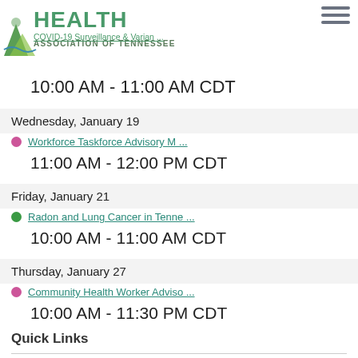[Figure (logo): Health Association of Tennessee logo with mountain/leaf graphic and text 'HEALTH ASSOCIATION OF TENNESSEE']
COVID-19 Surveillance & Varian ...
10:00 AM - 11:00 AM CDT
Wednesday, January 19
Workforce Taskforce Advisory M ...
11:00 AM - 12:00 PM CDT
Friday, January 21
Radon and Lung Cancer in Tenne ...
10:00 AM - 11:00 AM CDT
Thursday, January 27
Community Health Worker Adviso ...
10:00 AM - 11:30 PM CDT
Quick Links